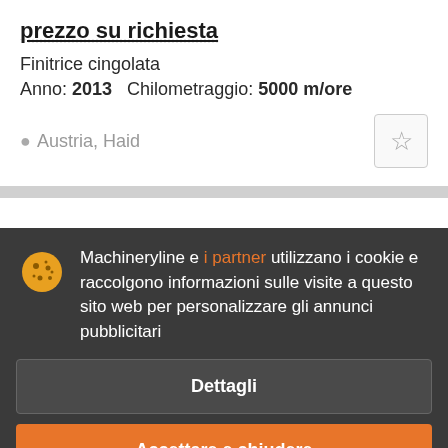prezzo su richiesta
Finitrice cingolata
Anno: 2013   Chilometraggio: 5000 m/ore
Austria, Haid
Machineryline e i partner utilizzano i cookie e raccolgono informazioni sulle visite a questo sito web per personalizzare gli annunci pubblicitari
Dettagli
Accettare e chiudere
prezzo su richiesta